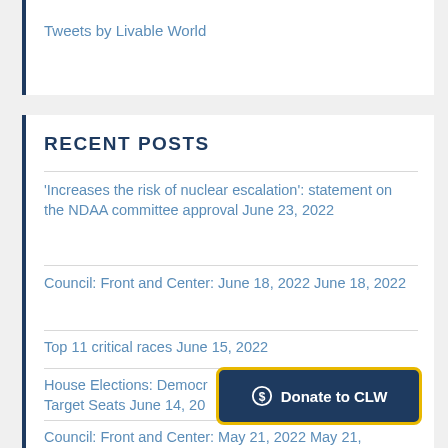Tweets by Livable World
RECENT POSTS
'Increases the risk of nuclear escalation': statement on the NDAA committee approval June 23, 2022
Council: Front and Center: June 18, 2022 June 18, 2022
Top 11 critical races June 15, 2022
House Elections: Democr... Target Seats June 14, 20...
Council: Front and Center: May 21, 2022 May 21, 2022
[Figure (other): Donate to CLW button with dollar sign icon, dark navy background with yellow/gold border]